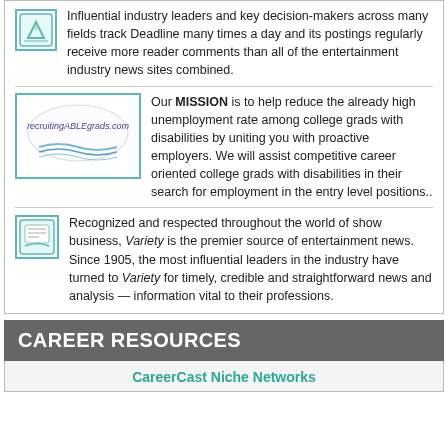Influential industry leaders and key decision-makers across many fields track Deadline many times a day and its postings regularly receive more reader comments than all of the entertainment industry news sites combined.
[Figure (logo): recruitingABLEgrads.com logo with oval and wave graphics]
Our MISSION is to help reduce the already high unemployment rate among college grads with disabilities by uniting you with proactive employers. We will assist competitive career oriented college grads with disabilities in their search for employment in the entry level positions..
[Figure (logo): Small teal/green browser-style icon]
Recognized and respected throughout the world of show business, Variety is the premier source of entertainment news. Since 1905, the most influential leaders in the industry have turned to Variety for timely, credible and straightforward news and analysis — information vital to their professions.
CAREER RESOURCES
CareerCast Niche Networks